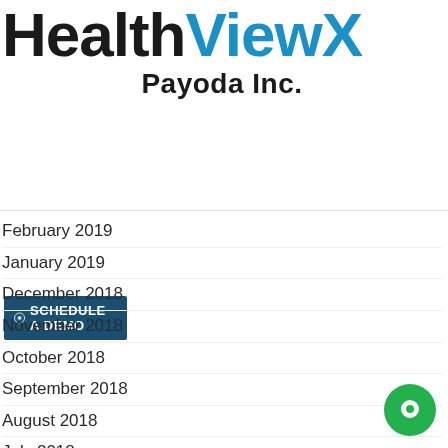[Figure (logo): HealthViewX logo with 'Health' in dark/black and 'ViewX' in blue, followed by 'Payoda Inc.' subtitle]
[Figure (screenshot): SCHEDULE A DEMO button with calendar icon on dark blue background]
[Figure (screenshot): Menu button]
February 2019
January 2019
December 2018
November 2018
October 2018
September 2018
August 2018
July 2018
June 2018
May 2018
April 2018
March 2018
February 2018